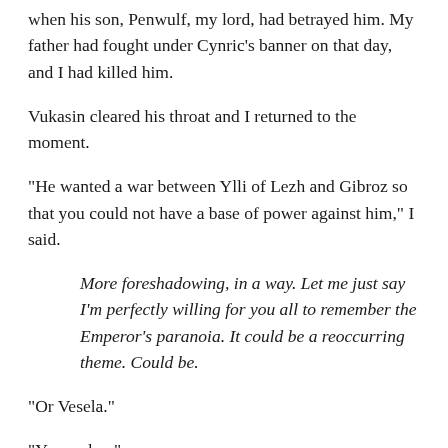when his son, Penwulf, my lord, had betrayed him. My father had fought under Cynric’s banner on that day, and I had killed him.
Vukasin cleared his throat and I returned to the moment.
“He wanted a war between Ylli of Lezh and Gibroz so that you could not have a base of power against him,” I said.
More foreshadowing, in a way. Let me just say I’m perfectly willing for you all to remember the Emperor’s paranoia. It could be a reoccurring theme. Could be.
“Or Vesela.”
“Yes, or her.”
Vukasin smiled. “This is Achrida. Things change. Yes, we Dassaretae are more prominent now, but never underestimate